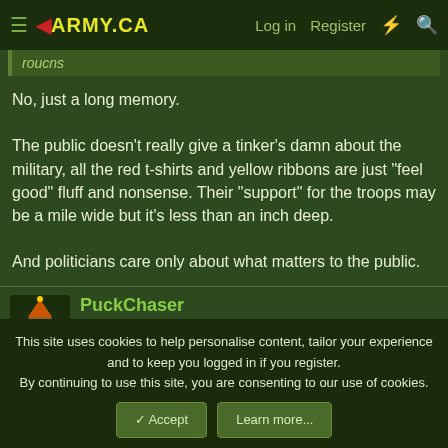≡ ◄ARMY.CA   Log in   Register   ⚡   🔍
roucns
No, just a long memory.

The public doesn't really give a tinker's damn about the military, all the red t-shirts and yellow ribbons are just "feel good" fluff and nonsense. Their "support" for the troops may be a mile wide but it's less than an inch deep.

And politicians care only about what matters to the public.
PuckChaser
Moderator   Staff member   Directing Staff   Mentor
This site uses cookies to help personalise content, tailor your experience and to keep you logged in if you register.
By continuing to use this site, you are consenting to our use of cookies.